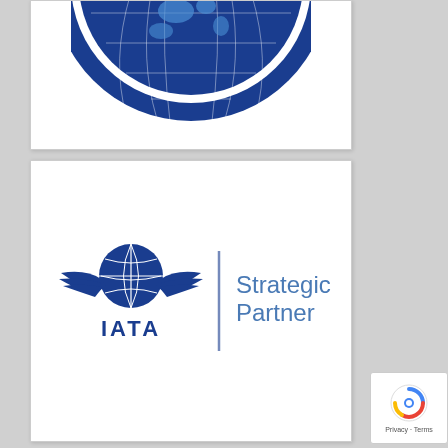[Figure (logo): IATA International Aeronautical Telecommunications Association Recognition Arrangement seal/badge — circular blue emblem with globe and text around the border]
[Figure (logo): IATA Strategic Partner logo — IATA winged globe wordmark on the left with a vertical divider and 'Strategic Partner' text on the right in blue]